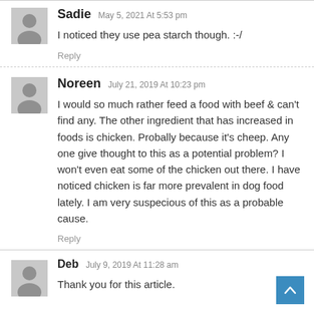Sadie May 5, 2021 At 5:53 pm — I noticed they use pea starch though. :-/
Noreen July 21, 2019 At 10:23 pm — I would so much rather feed a food with beef & can't find any. The other ingredient that has increased in foods is chicken. Probally because it's cheep. Any one give thought to this as a potential problem? I won't even eat some of the chicken out there. I have noticed chicken is far more prevalent in dog food lately. I am very suspecious of this as a probable cause.
Deb July 9, 2019 At 11:28 am — Thank you for this article.